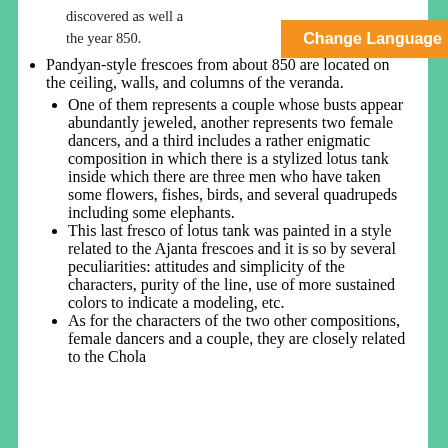discovered as well as the year 850.
[Figure (other): Orange 'Change Language' button in top right corner]
Pandyan-style frescoes from about 850 are located on the ceiling, walls, and columns of the veranda.
One of them represents a couple whose busts appear abundantly jeweled, another represents two female dancers, and a third includes a rather enigmatic composition in which there is a stylized lotus tank inside which there are three men who have taken some flowers, fishes, birds, and several quadrupeds including some elephants.
This last fresco of lotus tank was painted in a style related to the Ajanta frescoes and it is so by several peculiarities: attitudes and simplicity of the characters, purity of the line, use of more sustained colors to indicate a modeling, etc.
As for the characters of the two other compositions, female dancers and a couple, they are closely related to the Chola